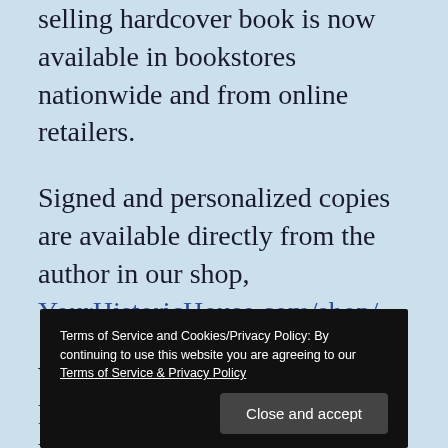selling hardcover book is now available in bookstores nationwide and from online retailers.
Signed and personalized copies are available directly from the author in our shop, YourHistoricHouse.com/shop/.
Want to learn more about historic architectural styles? Virginia McAlester's “A
Terms of Service and Cookies/Privacy Policy: By continuing to use this website you are agreeing to our Terms of Service & Privacy Policy
Close and accept